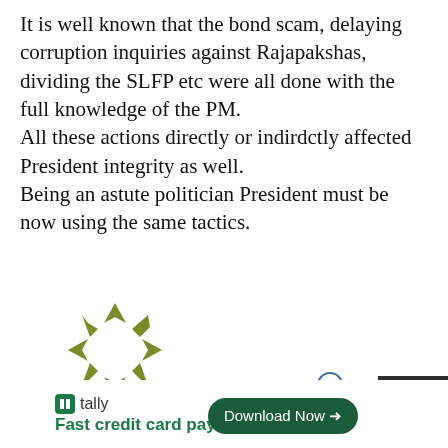It is well known that the bond scam, delaying corruption inquiries against Rajapakshas, dividing the SLFP etc were all done with the full knowledge of the PM. All these actions directly or indirdctly affected President integrity as well. Being an astute politician President must be now using the same tactics.
[Figure (logo): Decorative logo/icon made of olive-green arrow-like triangular shapes arranged in a starburst pattern]
Buddhi Perera / January 11, 2018
[Figure (infographic): Green thumbs-up button showing 0 votes, red thumbs-down button showing 1 vote]
[Figure (screenshot): Tally ad: Fast credit card payoff with Download Now button, and a close X button with dark chevron box]